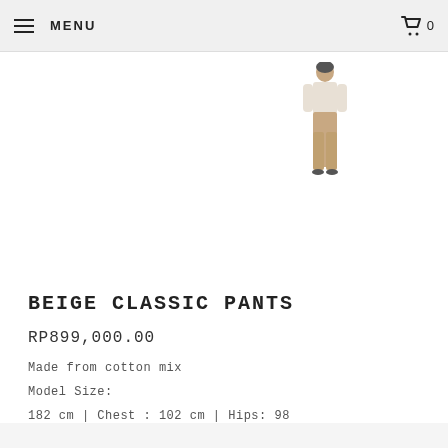MENU  0
[Figure (photo): Back view of a model wearing beige classic pants and a white top, shown from a distance against a white background]
BEIGE CLASSIC PANTS
RP899,000.00
Made from cotton mix
Model Size:
182 cm | Chest : 102 cm | Hips: 98